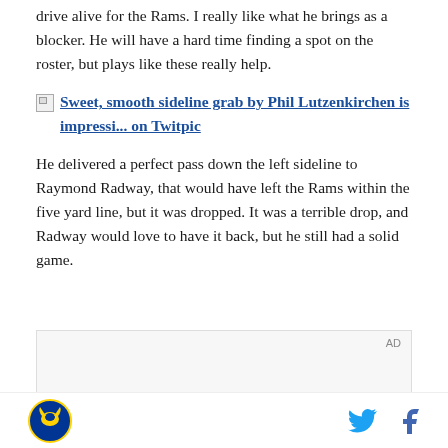drive alive for the Rams. I really like what he brings as a blocker. He will have a hard time finding a spot on the roster, but plays like these really help.
Sweet, smooth sideline grab by Phil Lutzenkirchen is impressi... on Twitpic
He delivered a perfect pass down the left sideline to Raymond Radway, that would have left the Rams within the five yard line, but it was dropped. It was a terrible drop, and Radway would love to have it back, but he still had a solid game.
[Figure (other): Advertisement box with AD label]
Footer with team logo and social media icons (Twitter, Facebook)